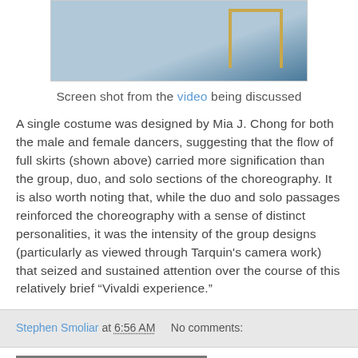[Figure (photo): Screen shot from a video showing a dancer with skirts and geometric background elements in blue and gold tones]
Screen shot from the video being discussed
A single costume was designed by Mia J. Chong for both the male and female dancers, suggesting that the flow of full skirts (shown above) carried more signification than the group, duo, and solo sections of the choreography. It is also worth noting that, while the duo and solo passages reinforced the choreography with a sense of distinct personalities, it was the intensity of the group designs (particularly as viewed through Tarquin's camera work) that seized and sustained attention over the course of this relatively brief “Vivaldi experience.”
Stephen Smoliar at 6:56 AM No comments:
Wednesday, June 22, 2022
Morton Subotnick to Visit Gray Area